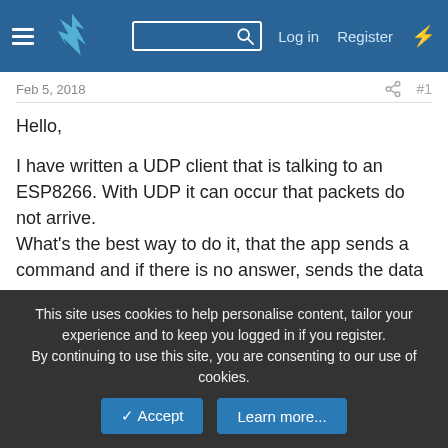Navigation bar with hamburger menu, logo, search box, Log in, Register, and lightning icon
Feb 5, 2018   #1
Hello,

I have written a UDP client that is talking to an ESP8266. With UDP it can occur that packets do not arrive.
What's the best way to do it, that the app sends a command and if there is no answer, sends the data up to 3 times again until an answer is received?
I'm just breaking my head 🙂
Sort by date   Sort by votes
This site uses cookies to help personalise content, tailor your experience and to keep you logged in if you register.
By continuing to use this site, you are consenting to our use of cookies.
✓ Accept   Learn more...